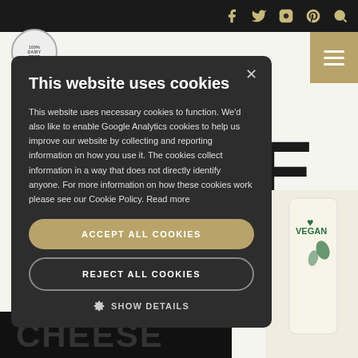Top navigation bar with social icons: Facebook, Twitter, Instagram, Pinterest, Search
[Figure (screenshot): Website cookie consent modal overlay on a food/vegan product website. Dark background with top black bar containing social media icons (Facebook, Twitter, Instagram, Pinterest, Search) in gold/tan color. Tan hamburger menu button on top right. Cookie modal dialog with title 'This website uses cookies', body text explaining cookie usage, two buttons: 'ACCEPT ALL COOKIES' (tan/gold filled) and 'REJECT ALL COOKIES' (outlined), and a 'SHOW DETAILS' option with gear icon.]
This website uses cookies
This website uses necessary cookies to function. We'd also like to enable Google Analytics cookies to help us improve our website by collecting and reporting information on how you use it. The cookies collect information in a way that does not directly identify anyone. For more information on how these cookies work please see our Cookie Policy. Read more